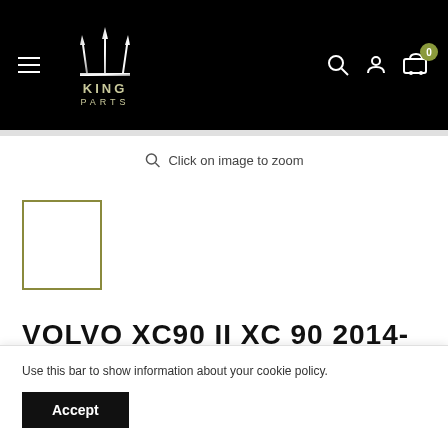[Figure (logo): King Parts logo with trident symbol above text KING PARTS on black header background]
Click on image to zoom
[Figure (other): Small thumbnail image placeholder with olive/gold border]
VOLVO XC90 II XC 90 2014-17
Use this bar to show information about your cookie policy.
Accept